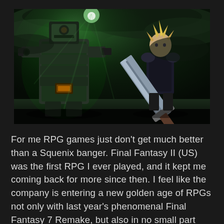[Figure (photo): A dark, dramatic scene from Final Fantasy 7 Remake showing a large mechanical robot/guardian on the left with green glowing light emanating around it, and the character Cloud Strife on the right holding his large sword, against a stormy dark sky background.]
For me RPG games just don't get much better than a Squenix banger. Final Fantasy II (US) was the first RPG I ever played, and it kept me coming back for more since then. I feel like the company is entering a new golden age of RPGs not only with last year's phenomenal Final Fantasy 7 Remake, but also in no small part thanks to